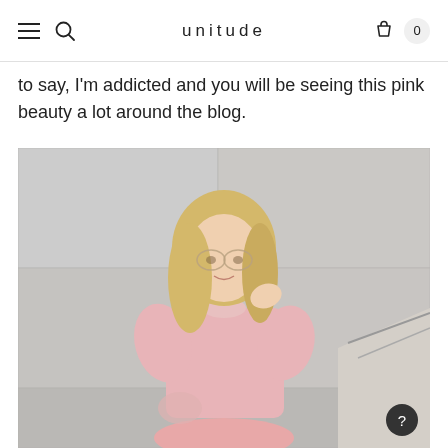unitude
to say, I'm addicted and you will be seeing this pink beauty a lot around the blog.
[Figure (photo): Blonde woman wearing a pink knit sweater and pink skirt, holding her hair, wearing glasses, standing near concrete wall and staircase railing]